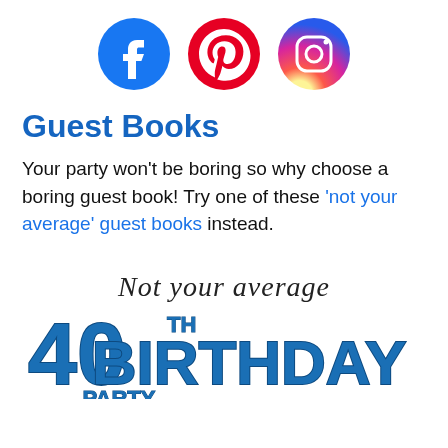[Figure (logo): Three social media icons: Facebook (blue circle with white 'f'), Pinterest (red circle with white 'P'), Instagram (gradient orange/pink/purple circle with camera icon)]
Guest Books
Your party won't be boring so why choose a boring guest book! Try one of these 'not your average' guest books instead.
[Figure (illustration): Decorative book cover illustration reading 'Not your average 40th BIRTHDAY PARTY Guest Book' in stylized blue and black lettering]